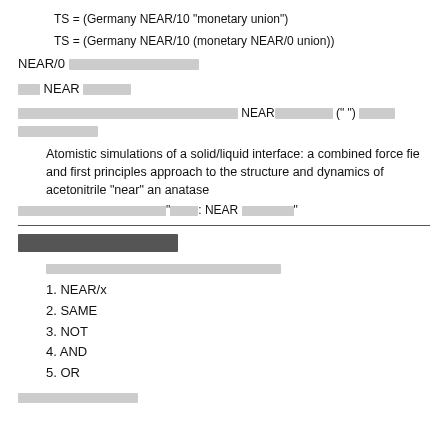TS = (Germany NEAR/10 "monetary union")
TS = (Germany NEAR/10 (monetary NEAR/0 union))
NEAR/0 [CJK text]
[CJK] NEAR [CJK]
[CJK] NEAR[CJK] (" ") [CJK] [CJK]
Atomistic simulations of a solid/liquid interface: a combined force fie and first principles approach to the structure and dynamics of acetonitrile "near" an anatase
[CJK]“[CJK]: NEAR [CJK]”
[CJK section title]
[CJK sub text]
1. NEAR/x
2. SAME
3. NOT
4. AND
5. OR
[CJK footer text]